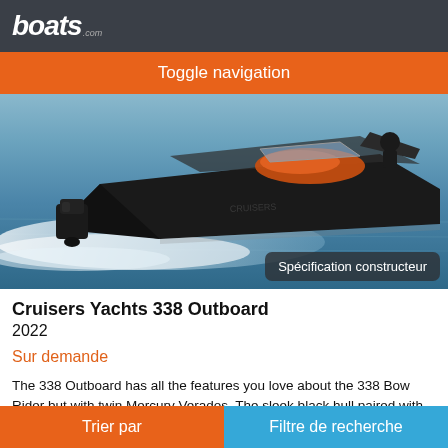boats.com
Toggle navigation
[Figure (photo): A sleek black Cruisers Yachts 338 Outboard speedboat with orange interior speeding across blue water, creating a large white wake. Badge overlay reads 'Spécification constructeur'.]
Cruisers Yachts 338 Outboard
2022
Sur demande
The 338 Outboard has all the features you love about the 338 Bow Rider but with twin Mercury Verados. The sleek black hull paired with the
Trier par   Filtre de recherche